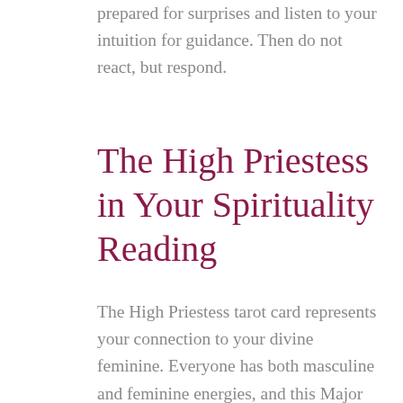prepared for surprises and listen to your intuition for guidance. Then do not react, but respond.
The High Priestess in Your Spirituality Reading
The High Priestess tarot card represents your connection to your divine feminine. Everyone has both masculine and feminine energies, and this Major Arcana card is symbolic of your intuition and your